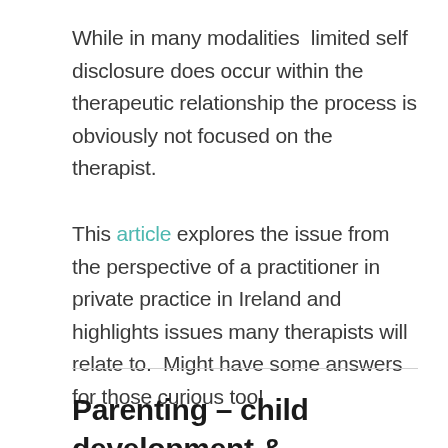While in many modalities  limited self disclosure does occur within the therapeutic relationship the process is obviously not focused on the therapist.
This article explores the issue from the perspective of a practitioner in private practice in Ireland and highlights issues many therapists will relate to.  Might have some answers for those curious too!
Parenting – child development & learning about success & failure